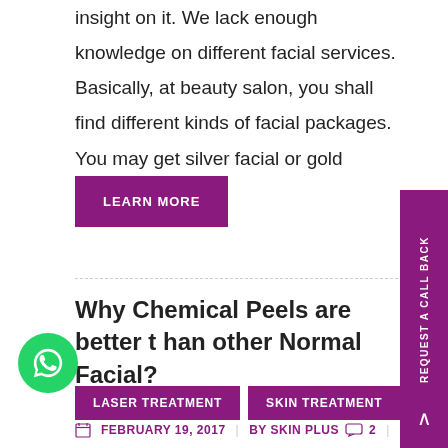insight on it. We lack enough knowledge on different facial services. Basically, at beauty salon, you shall find different kinds of facial packages. You may get silver facial or gold facial...
LEARN MORE
Why Chemical Peels are better than other Normal Facial?
LASER TREATMENT
SKIN TREATMENT
FEBRUARY 19, 2017 | BY SKIN PLUS 2 |